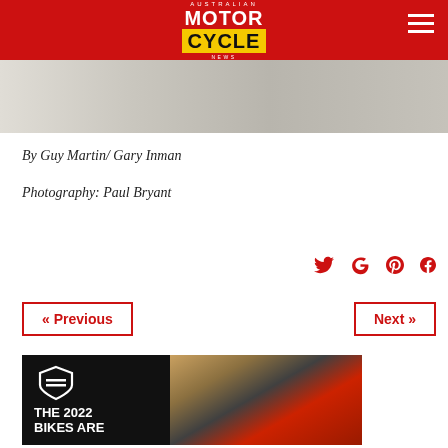AUSTRALIAN MOTORCYCLE NEWS
[Figure (photo): Partial motorcycle photo strip at the top of the page]
By Guy Martin/ Gary Inman
Photography: Paul Bryant
[Figure (infographic): Social media icons: Twitter, Google+, Pinterest, Facebook in red]
« Previous
Next »
[Figure (infographic): Harley-Davidson advertisement banner: 'THE 2022 BIKES ARE' with HD shield logo on black background, beside a photo of a red Harley-Davidson motorcycle on a road]